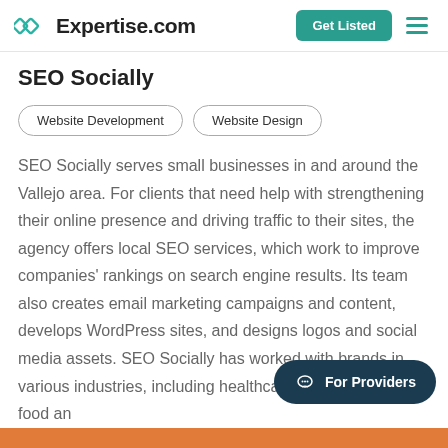Expertise.com | Get Listed
SEO Socially
Website Development
Website Design
SEO Socially serves small businesses in and around the Vallejo area. For clients that need help with strengthening their online presence and driving traffic to their sites, the agency offers local SEO services, which work to improve companies' rankings on search engine results. Its team also creates email marketing campaigns and content, develops WordPress sites, and designs logos and social media assets. SEO Socially has worked with brands in various industries, including healthcare, construction, and food an